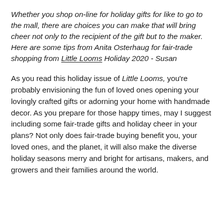Whether you shop on-line for holiday gifts for like to go to the mall, there are choices you can make that will bring cheer not only to the recipient of the gift but to the maker. Here are some tips from Anita Osterhaug for fair-trade shopping from Little Looms Holiday 2020 - Susan
As you read this holiday issue of Little Looms, you're probably envisioning the fun of loved ones opening your lovingly crafted gifts or adorning your home with handmade decor. As you prepare for those happy times, may I suggest including some fair-trade gifts and holiday cheer in your plans? Not only does fair-trade buying benefit you, your loved ones, and the planet, it will also make the diverse holiday seasons merry and bright for artisans, makers, and growers and their families around the world.